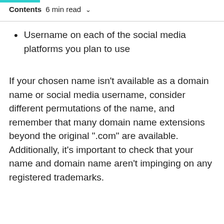Contents  6 min read
Username on each of the social media platforms you plan to use
If your chosen name isn't available as a domain name or social media username, consider different permutations of the name, and remember that many domain name extensions beyond the original ".com" are available. Additionally, it's important to check that your name and domain name aren't impinging on any registered trademarks.